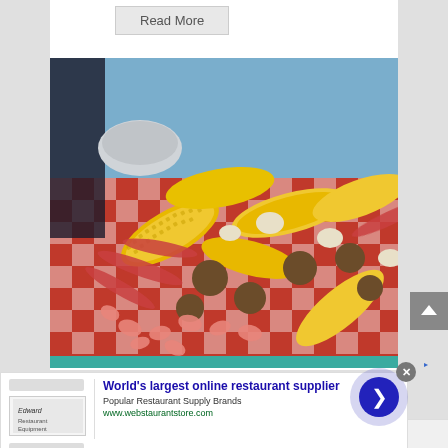[Figure (other): A 'Read More' button with light gray background and border on a white content area]
[Figure (photo): A seafood boil spread on a red checkered tablecloth showing corn on the cob, crab legs, shrimp, potatoes, and sausage piled on a table outdoors]
[Figure (other): Online advertisement for WebstaurantStore: 'World's largest online restaurant supplier', Popular Restaurant Supply Brands, www.webstaurantstore.com, with restaurant supply store logo and a blue circular arrow button]